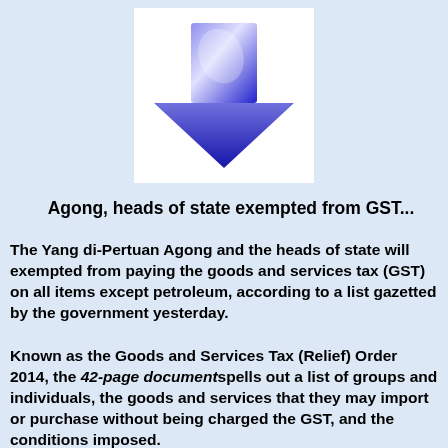[Figure (illustration): A large blue downward-pointing arrow icon on a white square background, with a glossy 3D effect.]
Agong, heads of state exempted from GST...
The Yang di-Pertuan Agong and the heads of state will exempted from paying the goods and services tax (GST) on all items except petroleum, according to a list gazetted by the government yesterday.
Known as the Goods and Services Tax (Relief) Order 2014, the 42-page document spells out a list of groups and individuals, the goods and services that they may import or purchase without being charged the GST, and the conditions imposed.